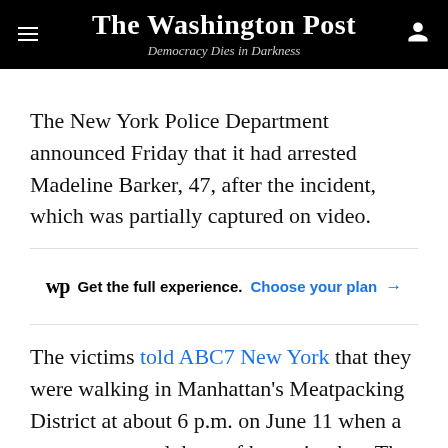The Washington Post — Democracy Dies in Darkness
The New York Police Department announced Friday that it had arrested Madeline Barker, 47, after the incident, which was partially captured on video.
wp Get the full experience. Choose your plan →
The victims told ABC7 New York that they were walking in Manhattan's Meatpacking District at about 6 p.m. on June 11 when a woman accused them of harassing her. The victims said they had no prior interactions with the woman, but they tried to calm her down by apologizing to her. In response, the assailant